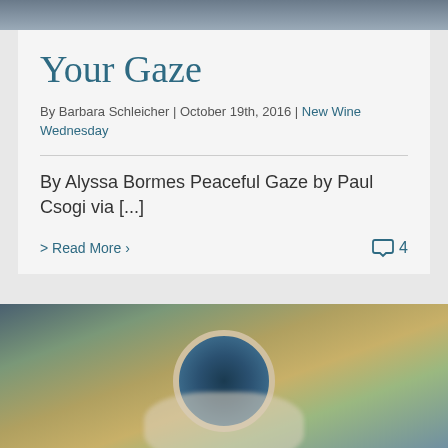[Figure (photo): Top portion of a photo, sky/misty background]
Your Gaze
By Barbara Schleicher | October 19th, 2016 | New Wine Wednesday
By Alyssa Bormes Peaceful Gaze by Paul Csogi via [...]
> Read More >
4
[Figure (photo): Overhead photo of person in white knit sweater holding a dark blue mug, with autumn leaves on ground]